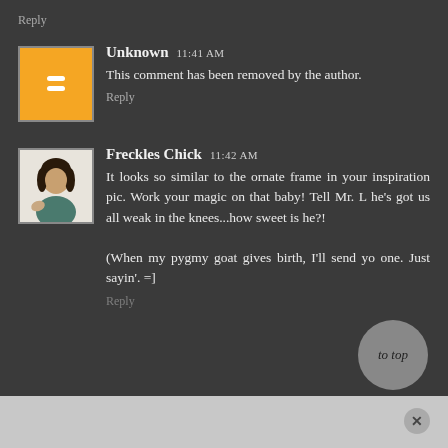Reply
Unknown  11:41 AM
This comment has been removed by the author.
Reply
Freckles Chick  11:42 AM
It looks so similar to the ornate frame in your inspiration pic. Work your magic on that baby! Tell Mr. L he's got us all weak in the knees...how sweet is he?!

(When my pygmy goat gives birth, I'll send yo one. Just sayin'. =]
Reply
to top